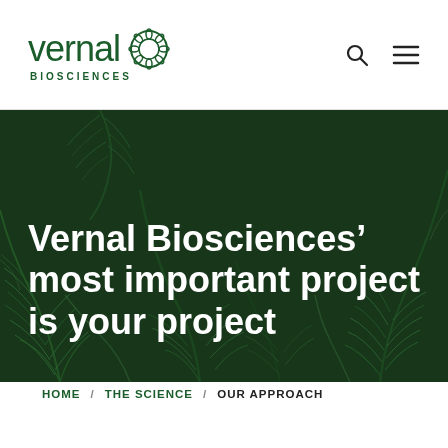[Figure (logo): Vernal Biosciences logo with green text and geometric circular icon]
[Figure (photo): Full-width hero image of dense green ferns/foliage with dark green overlay, containing large white bold text: 'Vernal Biosciences' most important project is your project']
Vernal Biosciences’ most important project is your project
HOME / THE SCIENCE / OUR APPROACH